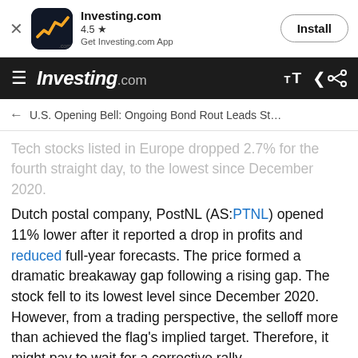[Figure (screenshot): Investing.com app install banner with logo, 4.5 star rating, and Install button]
Investing.com
U.S. Opening Bell: Ongoing Bond Rout Leads St…
Tech stocks listed in Europe dropped 2.7% for the fourth straight day, to the lowest since December 2020.
Dutch postal company, PostNL (AS:PTNL) opened 11% lower after it reported a drop in profits and reduced full-year forecasts. The price formed a dramatic breakaway gap following a rising gap. The stock fell to its lowest level since December 2020. However, from a trading perspective, the selloff more than achieved the flag's implied target. Therefore, it might pay to wait for a corrective rally.